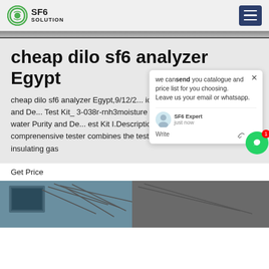SF6 SOLUTION
cheap dilo sf6 analyzer Egypt
cheap dilo sf6 analyzer Egypt,9/12/2... ice Sf6 Gas Micro-Water Purity and De... Test Kit_ 3-038r-rnh3moisture analy... ice sf 6 Gas Micro-water Purity and De... est Kit I.Description Sulfr hexafluoride comprenensive tester combines the tests of humidity of sf 6, purity of insulating gas
Get Price
[Figure (screenshot): Chat widget popup showing message: we can send you catalogue and price list for you choosing. Leave us your email or whatsapp. SF6 Expert just now. Write.]
[Figure (photo): Bottom portion of image showing industrial equipment with cables/wires and dark background.]